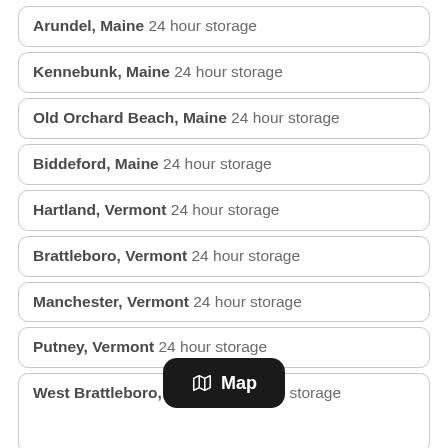Arundel, Maine 24 hour storage
Kennebunk, Maine 24 hour storage
Old Orchard Beach, Maine 24 hour storage
Biddeford, Maine 24 hour storage
Hartland, Vermont 24 hour storage
Brattleboro, Vermont 24 hour storage
Manchester, Vermont 24 hour storage
Putney, Vermont 24 hour storage
West Brattleboro, Vermont 24 hour storage
Newton, Kentucky 24 hour storage